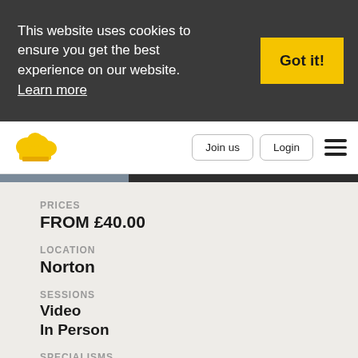This website uses cookies to ensure you get the best experience on our website. Learn more
Got it!
[Figure (logo): Yellow chef hat cloud logo]
Join us
Login
PRICES
FROM £40.00
LOCATION
Norton
SESSIONS
Video
In Person
SPECIALISMS